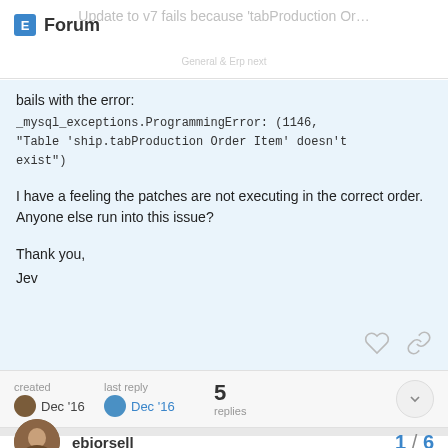Forum
Update to v7 fails because 'tabProduction Or...
bails with the error:
_mysql_exceptions.ProgrammingError: (1146, "Table 'ship.tabProduction Order Item' doesn't exist")
I have a feeling the patches are not executing in the correct order. Anyone else run into this issue?
Thank you,
Jev
created Dec '16   last reply Dec '16   5 replies
ebjorsell   1 / 6